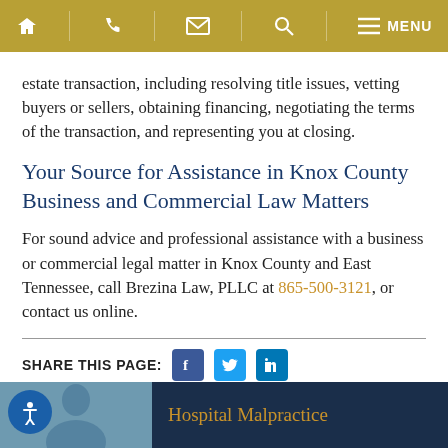Navigation bar with home, phone, email, search, and menu icons
estate transaction, including resolving title issues, vetting buyers or sellers, obtaining financing, negotiating the terms of the transaction, and representing you at closing.
Your Source for Assistance in Knox County Business and Commercial Law Matters
For sound advice and professional assistance with a business or commercial legal matter in Knox County and East Tennessee, call Brezina Law, PLLC at 865-500-3121, or contact us online.
SHARE THIS PAGE:
[Figure (infographic): Bottom banner with photo and Hospital Malpractice heading on dark navy background]